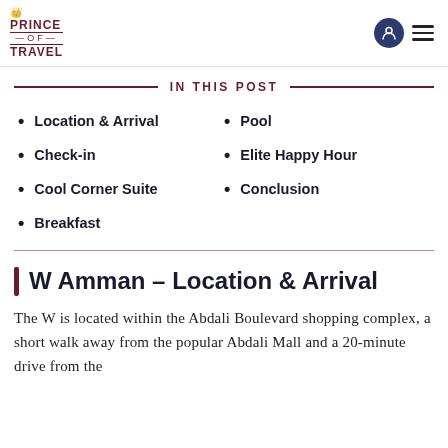PRINCE OF TRAVEL
IN THIS POST
Location & Arrival
Pool
Check-in
Elite Happy Hour
Cool Corner Suite
Conclusion
Breakfast
W Amman – Location & Arrival
The W is located within the Abdali Boulevard shopping complex, a short walk away from the popular Abdali Mall and a 20-minute drive from the